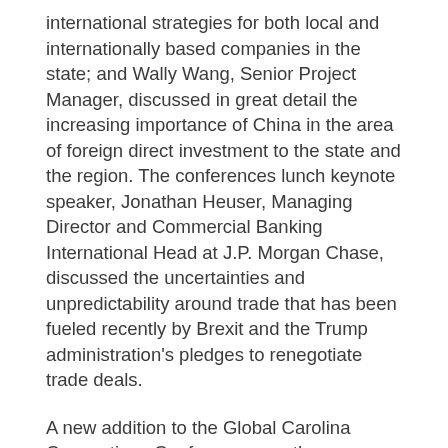international strategies for both local and internationally based companies in the state; and Wally Wang, Senior Project Manager, discussed in great detail the increasing importance of China in the area of foreign direct investment to the state and the region. The conferences lunch keynote speaker, Jonathan Heuser, Managing Director and Commercial Banking International Head at J.P. Morgan Chase, discussed the uncertainties and unpredictability around trade that has been fueled recently by Brexit and the Trump administration's pledges to renegotiate trade deals.
A new addition to the Global Carolina Connections Conference was the presentation of the German American Chamber's Gateway Award, which was given to BMW. Accepting the award on behalf of the German automaker was Max Metcalf, Chairman of Government and Community Relations. In his acceptance speech, Metcalf pointed to the long-